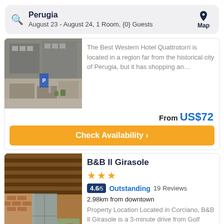Perugia
August 23 - August 24, 1 Room, {0} Guests
The Best Western Hotel Quattrotorri is located in a region far from the historical city of Perugia, but it has shopping an…
From US$72
Check Availability ›
B&B Il Girasole
★★★
4.6/5 Outstanding 19 Reviews
2.98km from downtown
Property Location Located in Corciano, B&B Il Girasole is a 3-minute drive from Golf Club Perugia and 7 minutes from…
From US$59
Check Availability ›